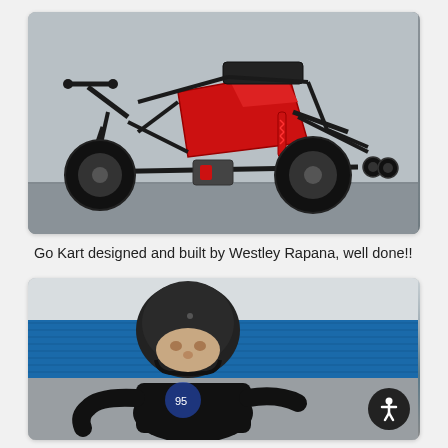[Figure (photo): A custom-built go kart with a red body, black tubular frame, two wheels visible, red shock absorber, and a small black seat, photographed against a grey wall on a concrete floor.]
Go Kart designed and built by Westley Rapana, well done!!
[Figure (photo): A young man wearing a black open-face motorcycle helmet and a black graphic t-shirt, seated in a go kart, photographed outdoors with a blue corrugated metal building in the background.]